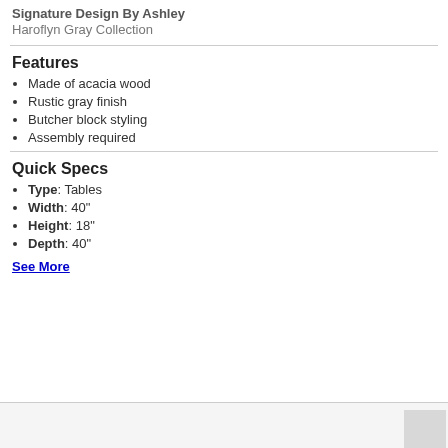Signature Design By Ashley
Haroflyn Gray Collection
Features
Made of acacia wood
Rustic gray finish
Butcher block styling
Assembly required
Quick Specs
Type: Tables
Width: 40"
Height: 18"
Depth: 40"
See More